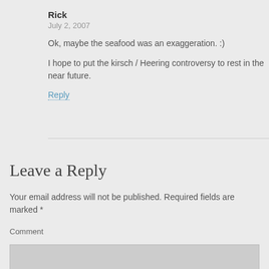Rick
July 2, 2007
Ok, maybe the seafood was an exaggeration. :)
I hope to put the kirsch / Heering controversy to rest in the near future.
Reply
Leave a Reply
Your email address will not be published. Required fields are marked *
Comment